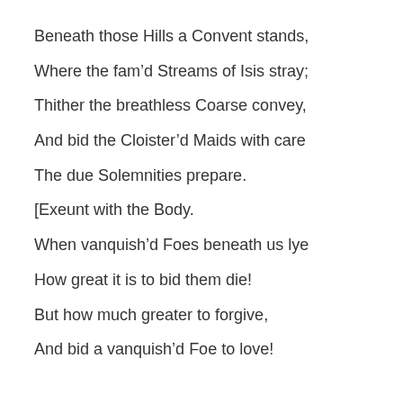Beneath those Hills a Convent stands,
Where the fam'd Streams of Isis stray;
Thither the breathless Coarse convey,
And bid the Cloister'd Maids with care
The due Solemnities prepare.
[Exeunt with the Body.
When vanquish'd Foes beneath us lye
How great it is to bid them die!
But how much greater to forgive,
And bid a vanquish'd Foe to love!